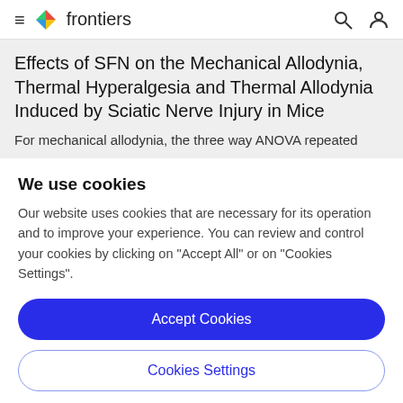frontiers
Effects of SFN on the Mechanical Allodynia, Thermal Hyperalgesia and Thermal Allodynia Induced by Sciatic Nerve Injury in Mice
For mechanical allodynia, the three way ANOVA repeated
We use cookies
Our website uses cookies that are necessary for its operation and to improve your experience. You can review and control your cookies by clicking on "Accept All" or on "Cookies Settings".
Accept Cookies
Cookies Settings